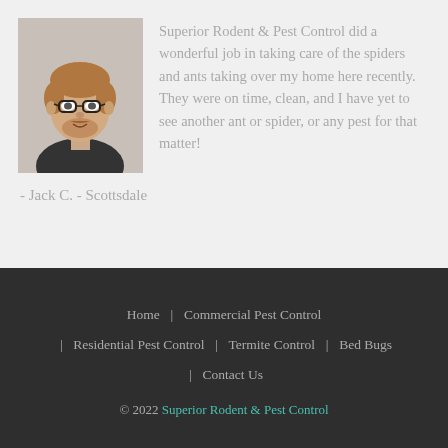[Figure (photo): Headshot photo of a man with glasses and a short beard, light brown hair, wearing a dark jacket. Slightly blurred background.]
Superior Rodent & Pest Control did a wonderful job in taking care of the spiders and ants taking over my home here recently. They were on time, clean, and I have yet to see another ant or spider, or any pest for that matter!
- Jack C. - Scottsdale
Home | Commercial Pest Control | Residential Pest Control | Termite Control | Bed Bugs | Contact Us
© 2022 Superior Rodent & Pest Control